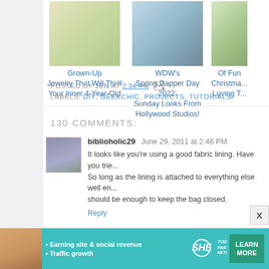[Figure (photo): Thumbnail photo of colorful statement necklace jewelry]
Grown-Up Jewelry That Will Thrill Your Inner 4-Year-Old
[Figure (photo): Thumbnail photo of woman in green dress taking mirror selfie]
WDW's Spring Dapper Day 2022: Sunday Looks From Hollywood Studios!
[Figure (photo): Thumbnail photo partially visible, Christmas themed]
Of Fun... Christmas... Loving T...
POSTED BY JEN AT 2:34 PM  LABELS: DIY, GEEKCHIC, PROJECTS, TUTORIALS
130 COMMENTS:
biblioholic29  June 29, 2011 at 2:46 PM
It looks like you're using a good fabric lining. Have you trie... So long as the lining is attached to everything else well en... should be enough to keep the bag closed.
Reply
[Figure (photo): Advertisement banner: SHE Partner Network - Earning site & social revenue, Traffic growth, LEARN MORE]